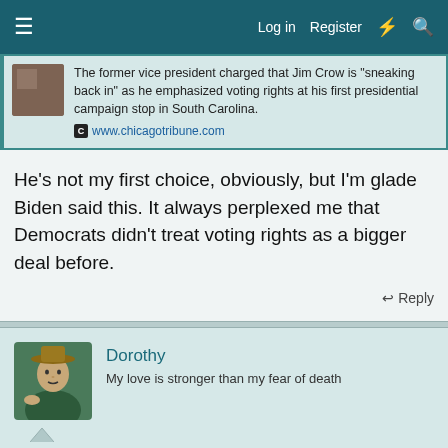Log in  Register
The former vice president charged that Jim Crow is "sneaking back in" as he emphasized voting rights at his first presidential campaign stop in South Carolina.
www.chicagotribune.com
He's not my first choice, obviously, but I'm glade Biden said this. It always perplexed me that Democrats didn't treat voting rights as a bigger deal before.
↩ Reply
Dorothy
My love is stronger than my fear of death
This site uses cookies to help personalise content, tailor your experience and to keep you logged in if you register.
By continuing to use this site, you are consenting to our use of cookies.